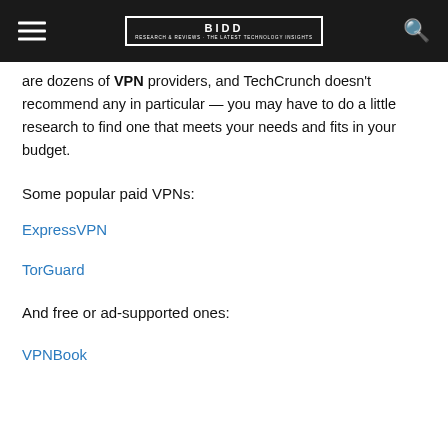BIDD — Research & Reviews
are dozens of VPN providers, and TechCrunch doesn't recommend any in particular — you may have to do a little research to find one that meets your needs and fits in your budget.
Some popular paid VPNs:
ExpressVPN
TorGuard
And free or ad-supported ones:
VPNBook